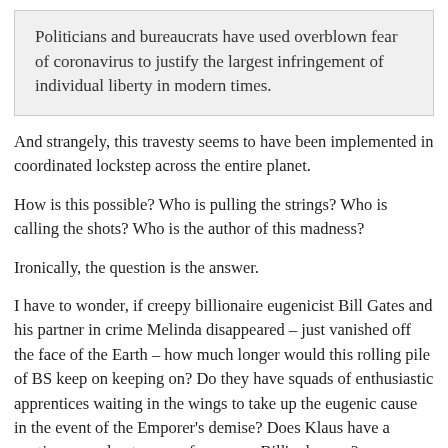Politicians and bureaucrats have used overblown fear of coronavirus to justify the largest infringement of individual liberty in modern times.
And strangely, this travesty seems to have been implemented in coordinated lockstep across the entire planet.
How is this possible? Who is pulling the strings? Who is calling the shots? Who is the author of this madness?
Ironically, the question is the answer.
I have to wonder, if creepy billionaire eugenicist Bill Gates and his partner in crime Melinda disappeared – just vanished off the face of the Earth – how much longer would this rolling pile of BS keep on keeping on? Do they have squads of enthusiastic apprentices waiting in the wings to take up the eugenic cause in the event of the Emporer's demise? Does Klaus have a contingency plan to cover for creepy Bill's absence?